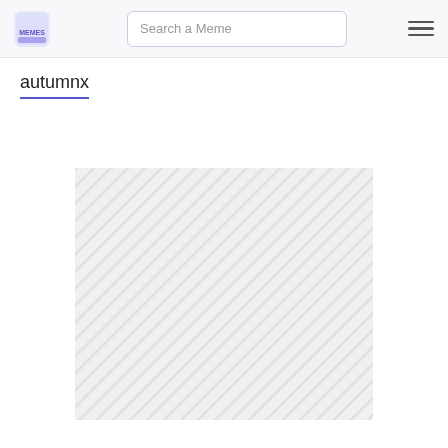Search a Meme
autumnx
[Figure (photo): A rectangular image placeholder with diagonal stripe pattern in light gray, representing a loading or unavailable meme image]